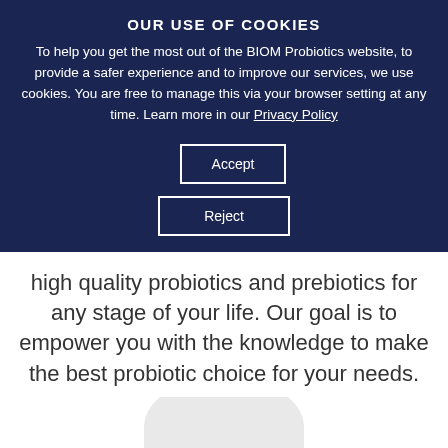OUR USE OF COOKIES
To help you get the most out of the BIOM Probiotics website, to provide a safer experience and to improve our services, we use cookies. You are free to manage this via your browser setting at any time. Learn more in our Privacy Policy
Accept
Reject
high quality probiotics and prebiotics for any stage of your life. Our goal is to empower you with the knowledge to make the best probiotic choice for your needs.
[Figure (photo): Partial view of a person with dark hair, with a light gray circular/oval shape behind them, visible at the bottom of the page]